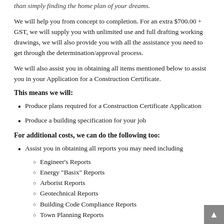than simply finding the home plan of your dreams.
We will help you from concept to completion. For an extra $700.00 + GST, we will supply you with unlimited use and full drafting working drawings, we will also provide you with all the assistance you need to get through the determination/approval process.
We will also assist you in obtaining all items mentioned below to assist you in your Application for a Construction Certificate.
This means we will:
Produce plans required for a Construction Certificate Application
Produce a building specification for your job
For additional costs, we can do the following too:
Assist you in obtaining all reports you may need including
Engineer's Reports
Energy "Basix" Reports
Arborist Reports
Geotechnical Reports
Building Code Compliance Reports
Town Planning Reports